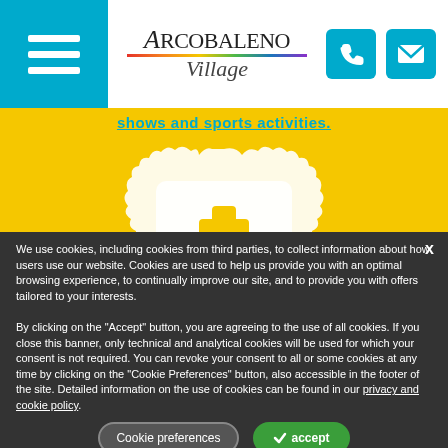Arcobaleno Village
shows and sports activities.
[Figure (illustration): White decorative badge/seal icon with a medical cross symbol on a yellow background]
We use cookies, including cookies from third parties, to collect information about how users use our website. Cookies are used to help us provide you with an optimal browsing experience, to continually improve our site, and to provide you with offers tailored to your interests.

By clicking on the "Accept" button, you are agreeing to the use of all cookies. If you close this banner, only technical and analytical cookies will be used for which your consent is not required. You can revoke your consent to all or some cookies at any time by clicking on the "Cookie Preferences" button, also accessible in the footer of the site. Detailed information on the use of cookies can be found in our privacy and cookie policy.